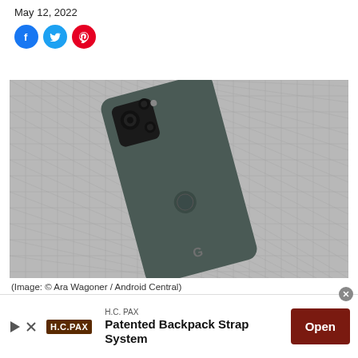May 12, 2022
[Figure (illustration): Social share icons: Facebook (blue), Twitter (light blue), Pinterest (red) circular buttons]
[Figure (photo): Google Pixel 5a smartphone lying face-down at an angle on a grey woven fabric surface, showing the back with a dual camera module in the top-left corner and a fingerprint sensor in the center. The phone is dark green/grey.]
(Image: © Ara Wagoner / Android Central)
[Figure (other): Advertisement banner: H.C. PAX logo with play arrow and X close buttons. Text: H.C. PAX / Patented Backpack Strap System. Dark red Open button on the right.]